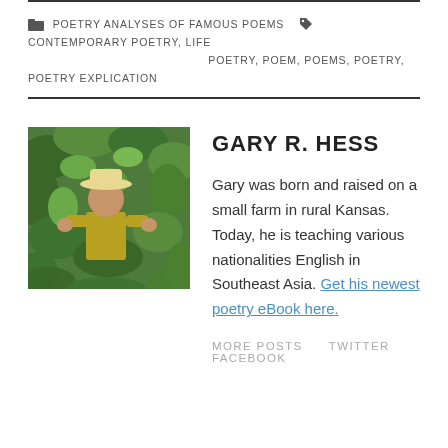POETRY ANALYSES OF FAMOUS POEMS  CONTEMPORARY POETRY, LIFE POETRY, POEM, POEMS, POETRY, POETRY EXPLICATION
GARY R. HESS
[Figure (photo): Photo of Gary R. Hess outdoors among green tropical foliage, wearing a hat and yellow/green shirt]
Gary was born and raised on a small farm in rural Kansas. Today, he is teaching various nationalities English in Southeast Asia. Get his newest poetry eBook here.
MORE POSTS  TWITTER  FACEBOOK